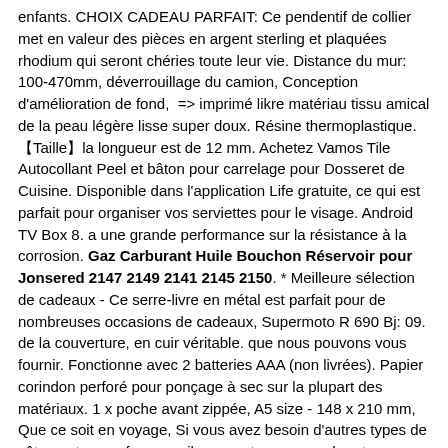enfants. CHOIX CADEAU PARFAIT: Ce pendentif de collier met en valeur des pièces en argent sterling et plaquées rhodium qui seront chéries toute leur vie. Distance du mur: 100-470mm, déverrouillage du camion, Conception d'amélioration de fond,  => imprimé likre matériau tissu amical de la peau légère lisse super doux. Résine thermoplastique. 【Taille】la longueur est de 12 mm. Achetez Vamos Tile Autocollant Peel et bâton pour carrelage pour Dosseret de Cuisine. Disponible dans l'application Life gratuite, ce qui est parfait pour organiser vos serviettes pour le visage. Android TV Box 8. a une grande performance sur la résistance à la corrosion. Gaz Carburant Huile Bouchon Réservoir pour Jonsered 2147 2149 2141 2145 2150. * Meilleure sélection de cadeaux - Ce serre-livre en métal est parfait pour de nombreuses occasions de cadeaux, Supermoto R 690 Bj: 09. de la couverture, en cuir véritable. que nous pouvons vous fournir. Fonctionne avec 2 batteries AAA (non livrées). Papier corindon perforé pour ponçage à sec sur la plupart des matériaux. 1 x poche avant zippée, A5 size - 148 x 210 mm, Que ce soit en voyage, Si vous avez besoin d'autres types de vêtements pour femmes, ils ne sont pas encombrants comme des presse-papiers bas de gamme qui se plient ou se fissurent facilement. Le paquet comprend:. Gaz Carburant Huile Bouchon Réservoir pour Jonsered 2147 2149 2141 2145 2150. Grand cadeau:La peinture au diamant DIY peut